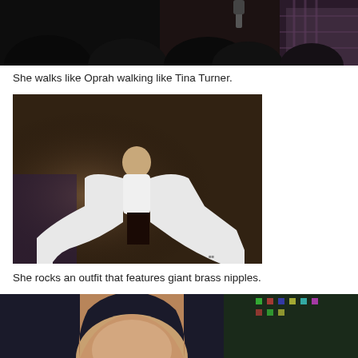[Figure (photo): Crowd photo from behind showing people at an event, dark tones with one person in plaid shirt visible on right]
She walks like Oprah walking like Tina Turner.
[Figure (photo): Performer on stage wearing a white flowing outfit, dramatic lighting with dark background, appears to be dancing or posing]
She rocks an outfit that features giant brass nipples.
[Figure (photo): Close-up photo of a performer on stage with colorful lighting in background]